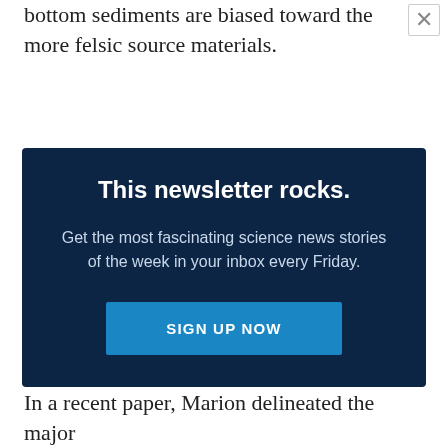bottom sediments are biased toward the more felsic source materials.
[Figure (other): Newsletter sign-up promotional box with dark navy background. Title: 'This newsletter rocks.' Body: 'Get the most fascinating science news stories of the week in your inbox every Friday.' Button: 'SIGN UP NOW']
In a recent paper, Marion delineated the major